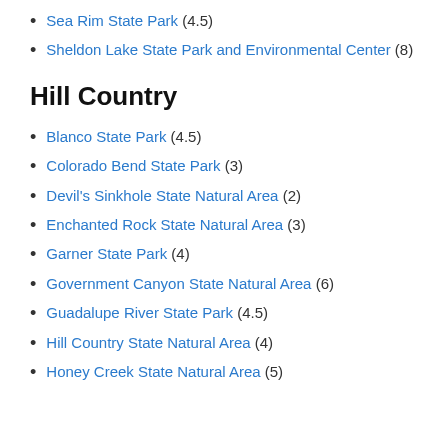Sea Rim State Park (4.5)
Sheldon Lake State Park and Environmental Center (8)
Hill Country
Blanco State Park (4.5)
Colorado Bend State Park (3)
Devil's Sinkhole State Natural Area (2)
Enchanted Rock State Natural Area (3)
Garner State Park (4)
Government Canyon State Natural Area (6)
Guadalupe River State Park (4.5)
Hill Country State Natural Area (4)
Honey Creek State Natural Area (5)